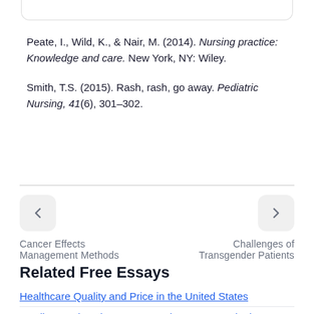Peate, I., Wild, K., & Nair, M. (2014). Nursing practice: Knowledge and care. New York, NY: Wiley.
Smith, T.S. (2015). Rash, rash, go away. Pediatric Nursing, 41(6), 301–302.
← Cancer Effects Management Methods
→ Challenges of Transgender Patients
Related Free Essays
Healthcare Quality and Price in the United States
Cardiovascular Disease Prevention Programs in the US